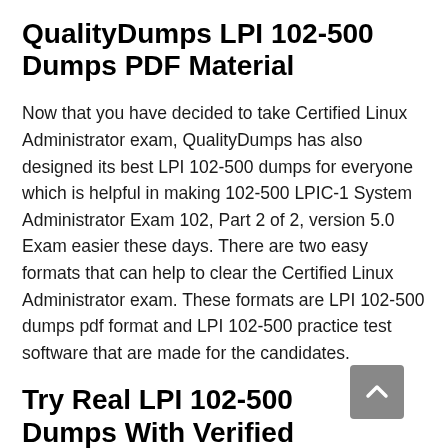QualityDumps LPI 102-500 Dumps PDF Material
Now that you have decided to take Certified Linux Administrator exam, QualityDumps has also designed its best LPI 102-500 dumps for everyone which is helpful in making 102-500 LPIC-1 System Administrator Exam 102, Part 2 of 2, version 5.0 Exam easier these days. There are two easy formats that can help to clear the Certified Linux Administrator exam. These formats are LPI 102-500 dumps pdf format and LPI 102-500 practice test software that are made for the candidates.
Try Real LPI 102-500 Dumps With Verified Questions & Answers
There are LPI 102-500 real questions with accurate answers that are designed as per the